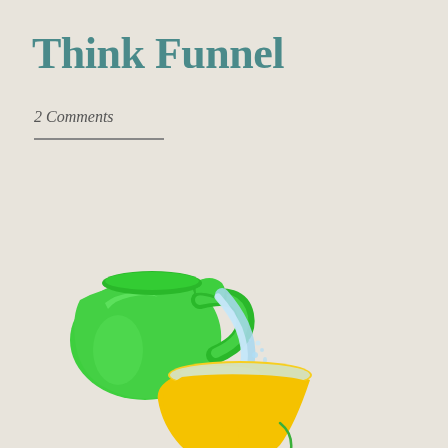Think Funnel
2 Comments
[Figure (illustration): A green pitcher/jug pouring water (light blue liquid stream with splashes) into a yellow funnel. The funnel has a wide bowl at the top and a narrow stem at the bottom, with water dripping out. A green curved arrow points to the narrow stem of the funnel. A text annotation reads 'The narrow end limits how much can pass through the funnel.']
The narrow end limits how much can pass through the funnel.